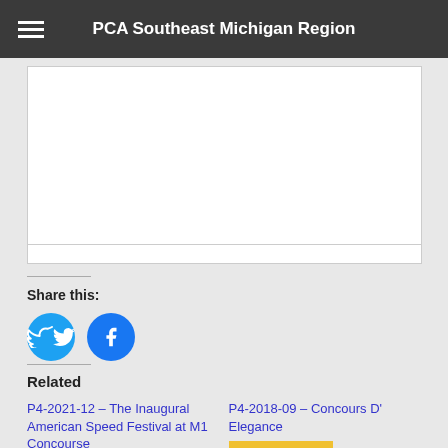PCA Southeast Michigan Region
[Figure (screenshot): White content box area with a thin bordered rectangle and a narrow bar below it, on a light gray background]
Share this:
[Figure (infographic): Twitter and Facebook circular social share buttons in blue]
Related
P4-2021-12 – The Inaugural American Speed Festival at M1 Concourse
[Figure (other): Yellow date badge showing NOVEMBER]
P4-2018-09 – Concours D' Elegance
[Figure (other): Yellow date badge showing SEPTEMBER 2, 2018]
In "2018 Club Events"